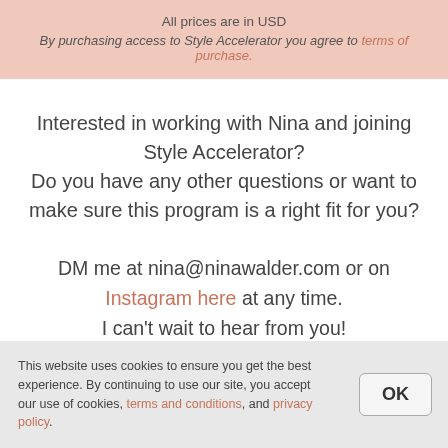All prices are in USD
By purchasing access to Style Accelerator you agree to terms of purchase.
Interested in working with Nina and joining Style Accelerator?
Do you have any other questions or want to make sure this program is a right fit for you?
DM me at nina@ninawalder.com or on Instagram here at any time.
I can't wait to hear from you!
This website uses cookies to ensure you get the best experience. By continuing to use our site, you accept our use of cookies, terms and conditions, and privacy policy.